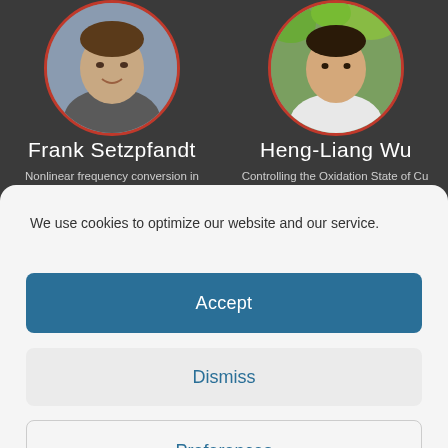[Figure (photo): Circular portrait photo of Frank Setzpfandt with red circular border, shown from shoulders up]
Frank Setzpfandt
Nonlinear frequency conversion in nanostructured optical systems for application in quantum photonics
[Figure (photo): Circular portrait photo of Heng-Liang Wu with red circular border, shown from shoulders up with foliage in background]
Heng-Liang Wu
Controlling the Oxidation State of Cu Electrode and Reaction Intermediates for Electrochemical CO2 Reduction to Ethanol
We use cookies to optimize our website and our service.
Accept
Dismiss
Preferences
Cookie Policy   Privacy Policy